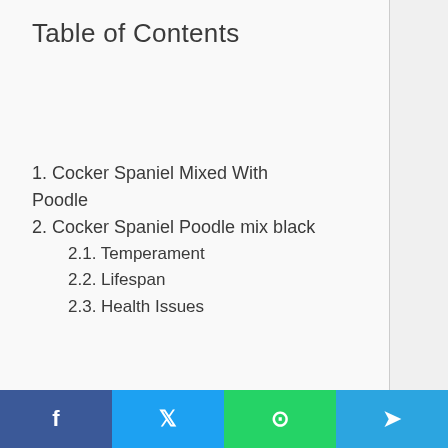Table of Contents
1. Cocker Spaniel Mixed With Poodle
2. Cocker Spaniel Poodle mix black
2.1. Temperament
2.2. Lifespan
2.3. Health Issues